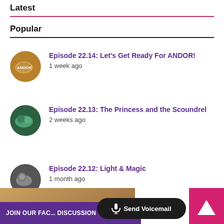Latest
Popular
Episode 22.14: Let's Get Ready For ANDOR!
1 week ago
Episode 22.13: The Princess and the Scoundrel
2 weeks ago
Episode 22.12: Light & Magic
1 month ago
JOIN OUR FAC[EBOOK] DISCUSSION GROUP!